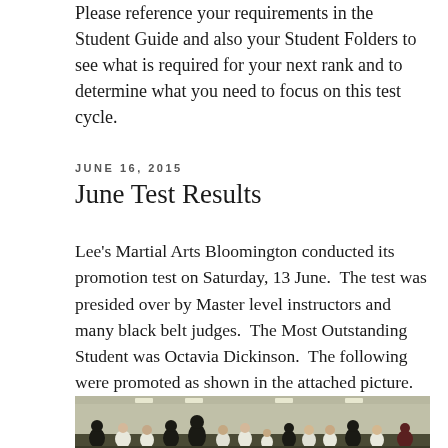Please reference your requirements in the Student Guide and also your Student Folders to see what is required for your next rank and to determine what you need to focus on this test cycle.
JUNE 16, 2015
June Test Results
Lee's Martial Arts Bloomington conducted its promotion test on Saturday, 13 June.  The test was presided over by Master level instructors and many black belt judges.  The Most Outstanding Student was Octavia Dickinson.  The following were promoted as shown in the attached picture.  Congratulations to all students!!
[Figure (photo): Group photo of martial arts students and instructors, some wearing white uniforms (gi) and some in dark clothing, standing together after a promotion test.]